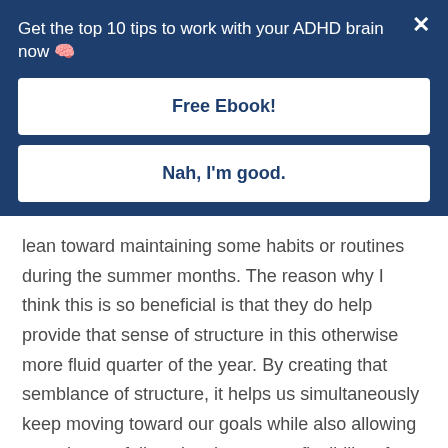Get the top 10 tips to work with your ADHD brain now 🧠
Free Ebook!
Nah, I'm good.
lean toward maintaining some habits or routines during the summer months. The reason why I think this is so beneficial is that they do help provide that sense of structure in this otherwise more fluid quarter of the year. By creating that semblance of structure, it helps us simultaneously keep moving toward our goals while also allowing ourselves to fully enjoy the greater flexibility of these summer months.
Now, as I sat down to create the outline for this episode,